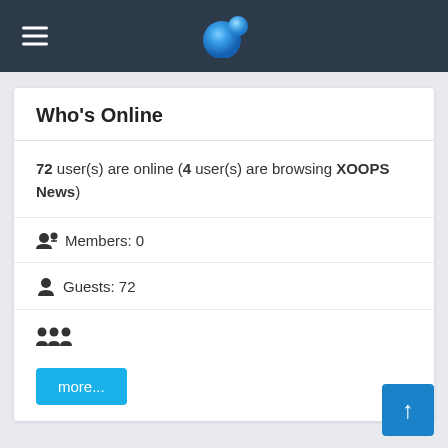XOOPS navigation bar with hamburger menu and logo
Who's Online
72 user(s) are online (4 user(s) are browsing XOOPS News)
Members: 0
Guests: 72
more...